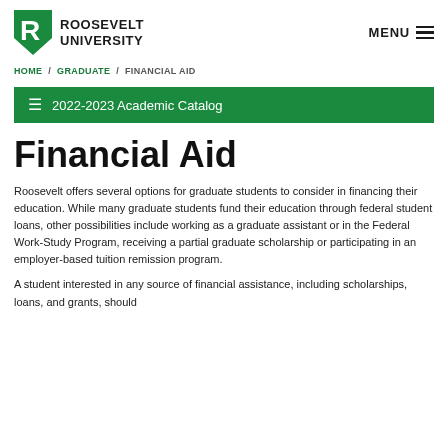Roosevelt University — MENU
HOME / GRADUATE / FINANCIAL AID
≡  2022-2023 Academic Catalog
Financial Aid
Roosevelt offers several options for graduate students to consider in financing their education. While many graduate students fund their education through federal student loans, other possibilities include working as a graduate assistant or in the Federal Work-Study Program, receiving a partial graduate scholarship or participating in an employer-based tuition remission program.
A student interested in any source of financial assistance, including scholarships, loans, and grants, should